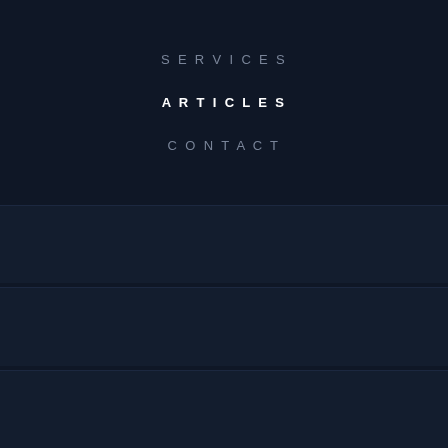SERVICES
ARTICLES
CONTACT
[Figure (other): Three dark navy card/panel blocks stacked vertically in the lower portion of the page, separated by thin lines, against a dark background.]